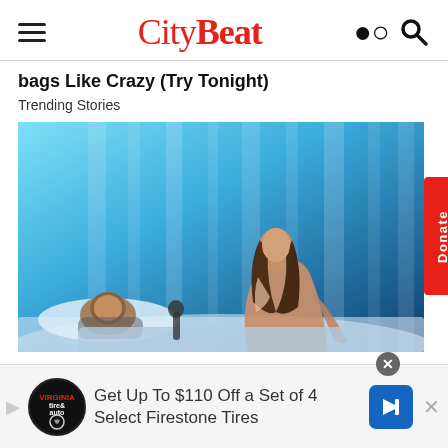CityBeat
bags Like Crazy (Try Tonight)
Trending Stories
[Figure (photo): Woman sitting up in bed next to a sleeping man, blue-lit background with vertical stripe pattern]
Donate
Get Up To $110 Off a Set of 4 Select Firestone Tires